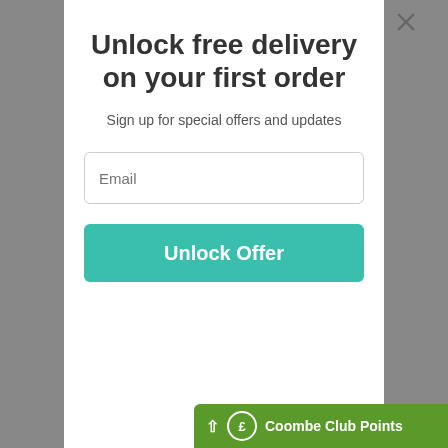Unlock free delivery on your first order
Sign up for special offers and updates
Email
Unlock Offer
No, tha
Coombe Club Points